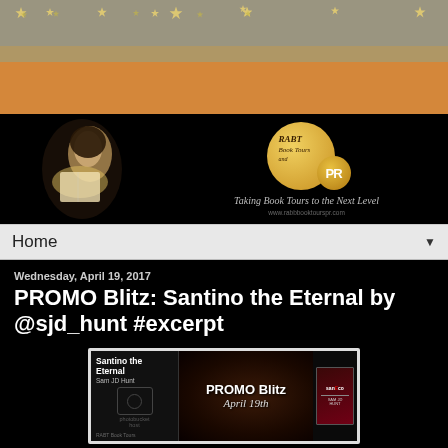[Figure (illustration): Top decorative banner with golden stars on grey-beige background]
[Figure (illustration): Orange horizontal bar]
[Figure (logo): RABT Book Tours PR logo with woman reading a book in dark lighting, gold circular badge with PR emblem, tagline: Taking Book Tours to the Next Level, website: www.rabbbooktourspr.com]
Home
Wednesday, April 19, 2017
PROMO Blitz: Santino the Eternal by @sjd_hunt #excerpt
[Figure (illustration): Promotional banner for Santino the Eternal by Sam JD Hunt. Shows PROMO Blitz April 19th text overlay over dark eye background image, with book cover on the right. RABT Book Tours branding at bottom.]